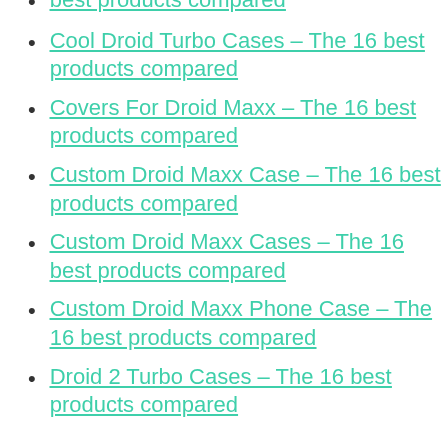best products compared
Cool Droid Turbo Cases – The 16 best products compared
Covers For Droid Maxx – The 16 best products compared
Custom Droid Maxx Case – The 16 best products compared
Custom Droid Maxx Cases – The 16 best products compared
Custom Droid Maxx Phone Case – The 16 best products compared
Droid 2 Turbo Cases – The 16 best products compared